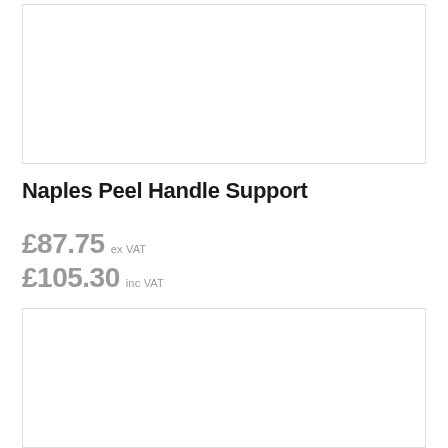[Figure (photo): Product image placeholder box (top) — white rectangle with light grey border]
Naples Peel Handle Support
£87.75 ex VAT
£105.30 inc VAT
[Figure (photo): Product image placeholder box (bottom) — white rectangle with light grey border]